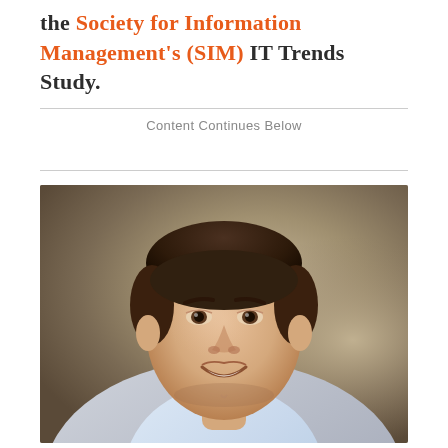the Society for Information Management's (SIM) IT Trends Study.
Content Continues Below
[Figure (photo): Professional headshot of a smiling middle-aged man with dark hair, wearing a light blue dress shirt and suit jacket, photographed against a blurred warm brown/beige background.]